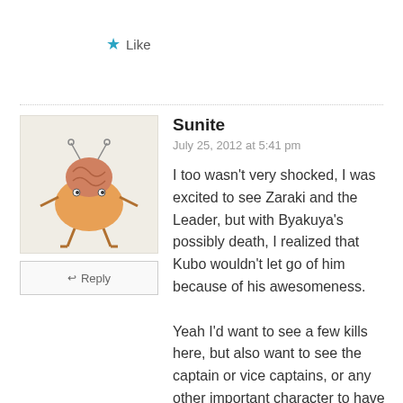★ Like
[Figure (illustration): Avatar image of a cartoon character resembling an orange blob with a brain-like top, small eyes, and stick legs]
Reply
Sunite
July 25, 2012 at 5:41 pm
I too wasn't very shocked, I was excited to see Zaraki and the Leader, but with Byakuya's possibly death, I realized that Kubo wouldn't let go of him because of his awesomeness.

Yeah I'd want to see a few kills here, but also want to see the captain or vice captains, or any other important character to have a shocking death, not like a stabbing, cuts death but something more, possibly like death by a fantastic attack like